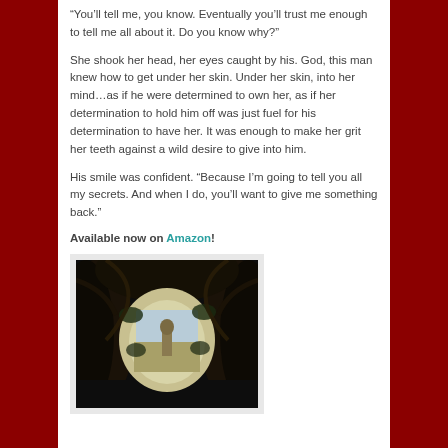“You’ll tell me, you know. Eventually you’ll trust me enough to tell me all about it. Do you know why?”
She shook her head, her eyes caught by his. God, this man knew how to get under her skin. Under her skin, into her mind…as if he were determined to own her, as if her determination to hold him off was just fuel for his determination to have her. It was enough to make her grit her teeth against a wild desire to give into him.
His smile was confident. “Because I’m going to tell you all my secrets. And when I do, you’ll want to give me something back.”
Available now on Amazon!
[Figure (photo): A dark tunnel or archway made of intertwined vines or branches, with light visible at the end showing a garden or landscape scene with a statue or monument.]